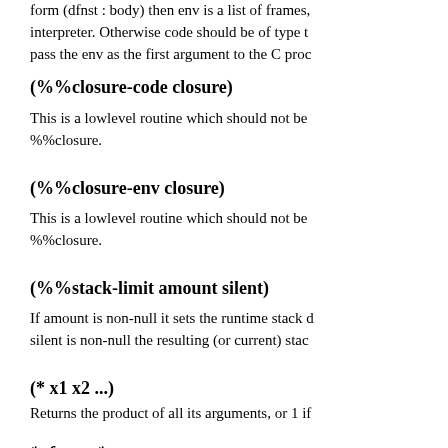form (dfnst : body) then env is a list of frames, interpreter. Otherwise code should be of type t pass the env as the first argument to the C proc
(%%closure-code closure)
This is a lowlevel routine which should not be %%closure.
(%%closure-env closure)
This is a lowlevel routine which should not be %%closure.
(%%stack-limit amount silent)
If amount is non-null it sets the runtime stack d silent is non-null the resulting (or current) stac
(* x1 x2 ...)
Returns the product of all its arguments, or 1 if
*after-gc*